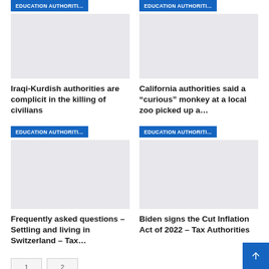[Figure (other): Blue badge labeled EDUCATION AUTHORITI... with gray thumbnail image, top-left card]
[Figure (other): Blue badge labeled EDUCATION AUTHORITI... with gray thumbnail image, top-right card]
Iraqi-Kurdish authorities are complicit in the killing of civilians
California authorities said a “curious” monkey at a local zoo picked up a…
[Figure (other): Blue badge labeled EDUCATION AUTHORITI... with gray thumbnail image, bottom-left card]
[Figure (other): Blue badge labeled EDUCATION AUTHORITI... with gray thumbnail image, bottom-right card]
Frequently asked questions – Settling and living in Switzerland – Tax…
Biden signs the Cut Inflation Act of 2022 – Tax Authorities